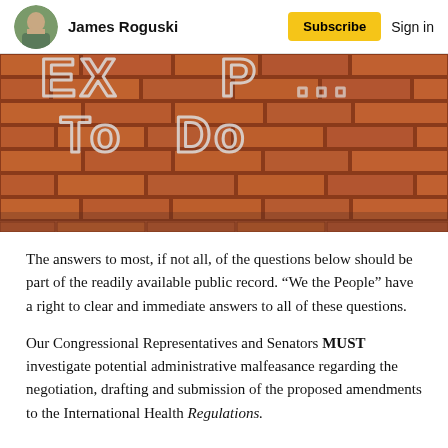James Roguski   Subscribe   Sign in
[Figure (photo): Brick wall with white chalk or painted lettering showing partial text 'EXP... To Do']
The answers to most, if not all, of the questions below should be part of the readily available public record. “We the People” have a right to clear and immediate answers to all of these questions.
Our Congressional Representatives and Senators MUST investigate potential administrative malfeasance regarding the negotiation, drafting and submission of the proposed amendments to the International Health Regulations.